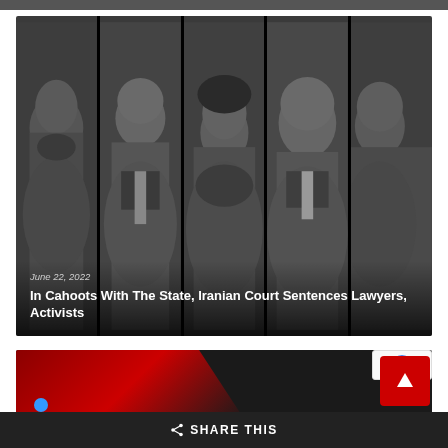[Figure (photo): Grayscale composite image of five portrait panels of individuals (lawyers and activists), with dark separating lines between panels]
June 22, 2022
In Cahoots With The State, Iranian Court Sentences Lawyers, Activists
[Figure (photo): Partial view of a dark image with red shapes and a blue element, bottom portion of page]
SHARE THIS